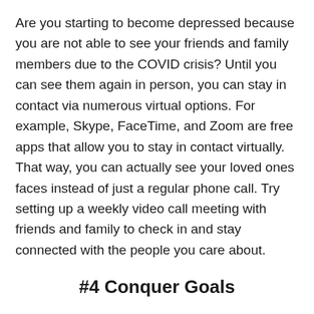Are you starting to become depressed because you are not able to see your friends and family members due to the COVID crisis? Until you can see them again in person, you can stay in contact via numerous virtual options. For example, Skype, FaceTime, and Zoom are free apps that allow you to stay in contact virtually. That way, you can actually see your loved ones faces instead of just a regular phone call. Try setting up a weekly video call meeting with friends and family to check in and stay connected with the people you care about.
#4 Conquer Goals
Next, another excellent way to stay calm during COVID is to set and conquer small goals. Start by making a list of things that you want to accomplish. It doesn't have to be...